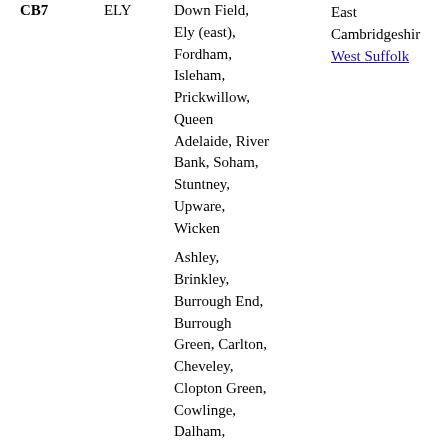| Code | Name | Places | Districts |
| --- | --- | --- | --- |
| CB7 | ELY | Down Field, Ely (east), Fordham, Isleham, Prickwillow, Queen Adelaide, River Bank, Soham, Stuntney, Upware, Wicken | East Cambridgeshire, West Suffolk |
|  |  | Ashley, Brinkley, Burrough End, Burrough Green, Carlton, Cheveley, Clopton Green, Cowlinge, Dalham, Denston, Ditton Green, Dullingham, Dunstall Green, Exning, |  |